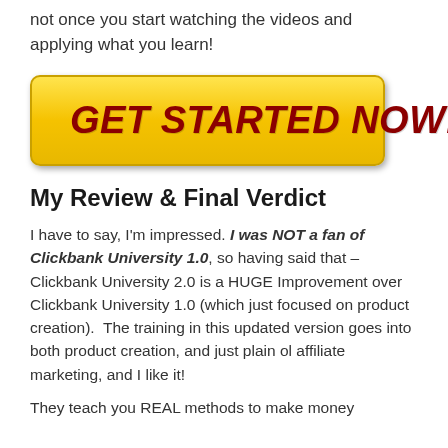not once you start watching the videos and applying what you learn!
[Figure (other): Yellow gradient CTA button with bold italic dark red text reading GET STARTED NOW!]
My Review & Final Verdict
I have to say, I'm impressed. I was NOT a fan of Clickbank University 1.0, so having said that – Clickbank University 2.0 is a HUGE Improvement over Clickbank University 1.0 (which just focused on product creation).  The training in this updated version goes into both product creation, and just plain ol affiliate marketing, and I like it!
They teach you REAL methods to make money